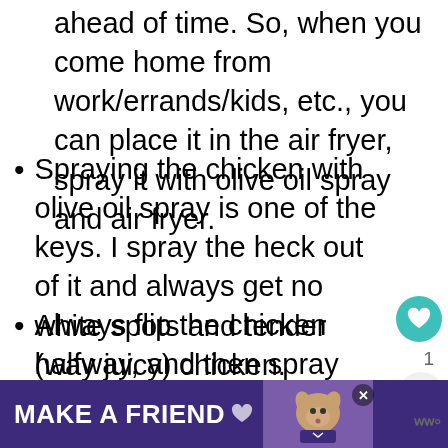ahead of time. So, when you come home from work/errands/kids, etc., you can place it in the air fryer, spray it with olive oil spray and air fryer.
Spraying the chicken with olive oil spray is one of the keys. I spray the heck out of it and always get no white spots and tender (way juicy) chicken.
Always flip the chicken halfway, and then spray again. This way, both sides are nice, light, and tender.
Because eating uncooked chicken is unhealthy and can you sick, invest in
[Figure (other): Advertisement banner at the bottom: purple background with text MAKE A FRIEND, heart icon, dog image, and WW logo]